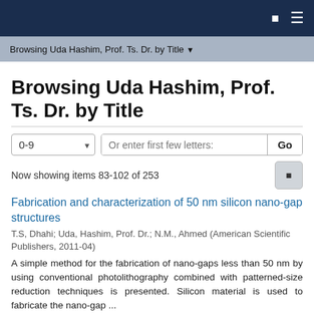Browsing Uda Hashim, Prof. Ts. Dr. by Title
Browsing Uda Hashim, Prof. Ts. Dr. by Title
Now showing items 83-102 of 253
Fabrication and characterization of 50 nm silicon nano-gap structures
T.S, Dhahi; Uda, Hashim, Prof. Dr.; N.M., Ahmed (American Scientific Publishers, 2011-04)
A simple method for the fabrication of nano-gaps less than 50 nm by using conventional photolithography combined with patterned-size reduction techniques is presented. Silicon material is used to fabricate the nano-gap ...